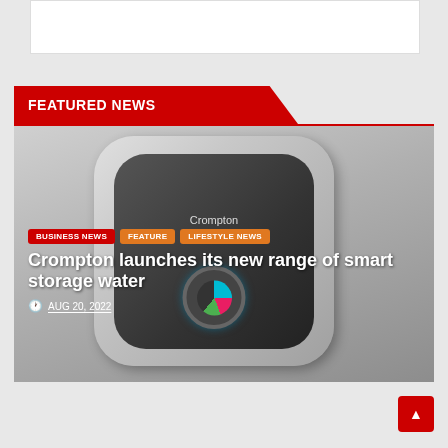[Figure (screenshot): White advertisement/search box at top of page]
FEATURED NEWS
[Figure (photo): Crompton smart storage water heater, a rounded square device with dark front panel and Crompton label]
BUSINESS NEWS
FEATURE
LIFESTYLE NEWS
Crompton launches its new range of smart storage water
AUG 20, 2022
[Figure (photo): Partial image at bottom of page, partially visible]